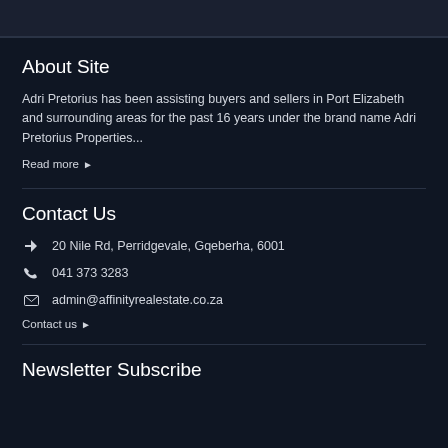About Site
Adri Pretorius has been assisting buyers and sellers in Port Elizabeth and surrounding areas for the past 16 years under the brand name Adri Pretorius Properties...
Read more ▶
Contact Us
20 Nile Rd, Perridgevale, Gqeberha, 6001
041 373 3283
admin@affinityrealestate.co.za
Contact us ▶
Newsletter Subscribe